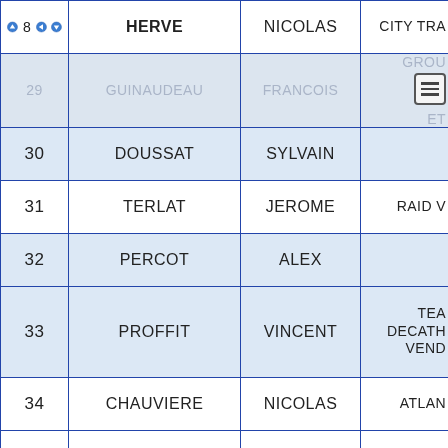| # | Last Name | First Name | Team |
| --- | --- | --- | --- |
| 28 | HERVE | NICOLAS | CITY TRA... |
| 29 | GUINAUDEAU | FRANCOIS | GROU... ET... |
| 30 | DOUSSAT | SYLVAIN |  |
| 31 | TERLAT | JEROME | RAID V... |
| 32 | PERCOT | ALEX |  |
| 33 | PROFFIT | VINCENT | TEA... DECATH... VEND... |
| 34 | CHAUVIERE | NICOLAS | ATLAN... |
| 35 | PEAN | PIERRE | AC ROCH... YON ... |
| 36 |  |  | ST. JEA... |